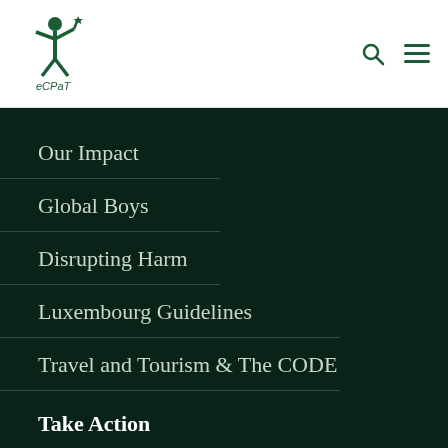ECPAT logo with navigation icons
Our Impact
Global Boys
Disrupting Harm
Luxembourg Guidelines
Travel and Tourism & The CODE
Take Action